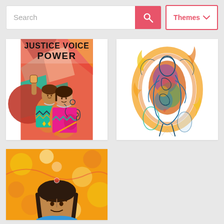[Figure (screenshot): Search bar UI with text input field showing placeholder 'Search', a pink/red search button with magnifying glass icon, and a 'Themes' dropdown button with chevron, all on light gray background]
[Figure (illustration): Colorful illustration/poster with text 'JUSTICE VOICE POWER' at top in bold black letters, featuring two Indigenous women figures with raised fist, wearing traditional jewelry and colorful clothing on a geometric multicolored background]
[Figure (illustration): Abstract artwork on white background showing a figure rendered in overlapping blue line drawings with colorful interior shapes in red, yellow, green, blue, surrounded by orange/yellow flame-like brushstrokes]
[Figure (illustration): Partial view of colorful artwork showing top portion of a figure with dark hair against a bright yellow/orange background with circular bokeh-like shapes]